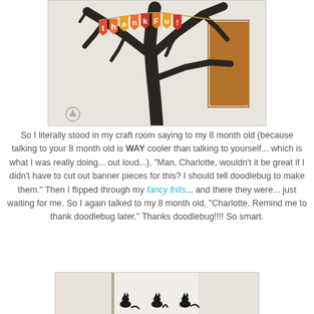[Figure (photo): A dark brown/black bare tree branch decoration with a colorful 'thankful' banner hanging from it, letters on pennant flags in orange, red, and yellow. Background is white/light with a wooden piece visible.]
So I literally stood in my craft room saying to my 8 month old (because talking to your 8 month old is WAY cooler than talking to yourself... which is what I was really doing... out loud...), "Man, Charlotte, wouldn't it be great if I didn't have to cut out banner pieces for this? I should tell doodlebug to make them." Then I flipped through my fancy frills... and there they were... just waiting for me. So I again talked to my 8 month old, "Charlotte. Remind me to thank doodlebug later." Thanks doodlebug!!!! So smart.
[Figure (photo): Partial view of silhouetted cat figures on what appears to be a window or wall surface, in a light room setting.]